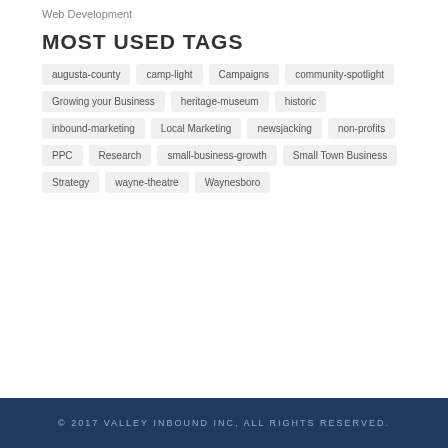Web Development
MOST USED TAGS
augusta-county
camp-light
Campaigns
community-spotlight
Growing your Business
heritage-museum
historic
inbound-marketing
Local Marketing
newsjacking
non-profits
PPC
Research
small-business-growth
Small Town Business
Strategy
wayne-theatre
Waynesboro
© 2017 VALLEY INBOUND INC, ALL RIGHTS RESERVED.